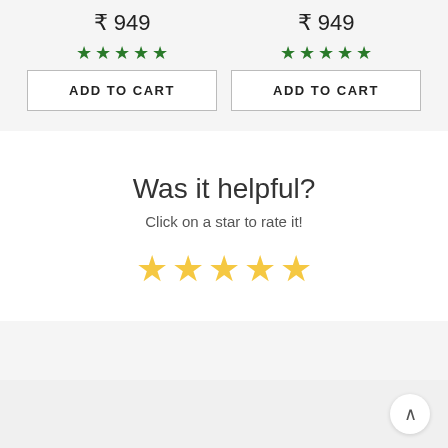₹ 949
[Figure (other): 5 green star rating icons]
ADD TO CART
₹ 949
[Figure (other): 5 green star rating icons]
ADD TO CART
Was it helpful?
Click on a star to rate it!
[Figure (other): 5 yellow star rating icons]